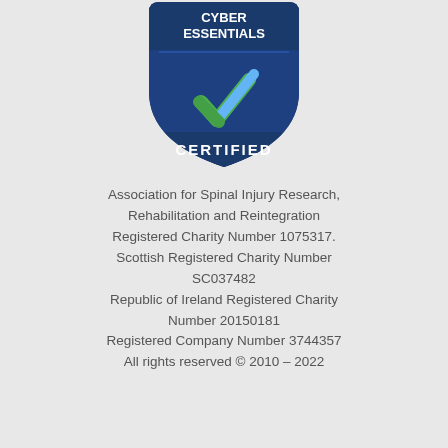[Figure (logo): Cyber Essentials Certified badge — dark blue shield/arch shape with white text 'CYBER ESSENTIALS' at top, a large blue and green checkmark in the centre, and white text 'CERTIFIED' at the bottom.]
Association for Spinal Injury Research, Rehabilitation and Reintegration Registered Charity Number 1075317. Scottish Registered Charity Number SC037482 Republic of Ireland Registered Charity Number 20150181 Registered Company Number 3744357 All rights reserved © 2010 – 2022